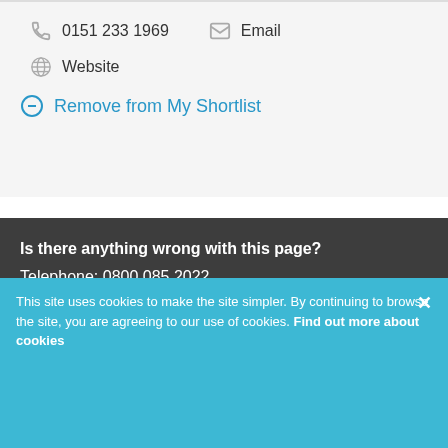0151 233 1969
Email
Website
Remove from My Shortlist
Is there anything wrong with this page?
Telephone: 0800 085 2022
[Figure (logo): Liverpool City Council logo with Liver Bird symbol]
This site uses cookies to make the site simpler. By continuing to browse the site, you are agreeing to our use of cookies. Find out more about cookies